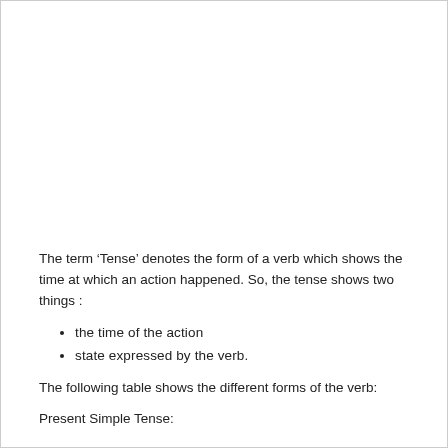The term ‘Tense’ denotes the form of a verb which shows the time at which an action happened. So, the tense shows two things :
the time of the action
state expressed by the verb.
The following table shows the different forms of the verb:
Present Simple Tense: